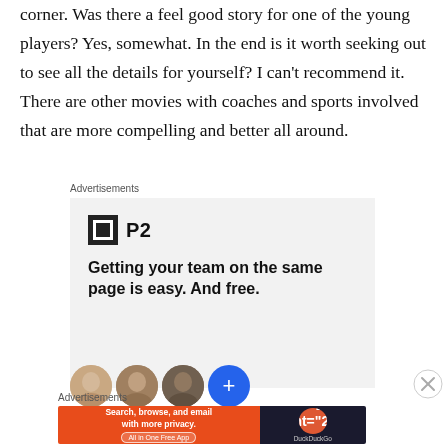corner. Was there a feel good story for one of the young players? Yes, somewhat. In the end is it worth seeking out to see all the details for yourself? I can't recommend it. There are other movies with coaches and sports involved that are more compelling and better all around.
Advertisements
[Figure (other): P2 advertisement banner with logo, headline 'Getting your team on the same page is easy. And free.' and profile avatar photos]
[Figure (other): Close button (X circle) on right side]
Advertisements
[Figure (other): DuckDuckGo advertisement: 'Search, browse, and email with more privacy. All in One Free App' with orange background and DuckDuckGo logo on dark background]